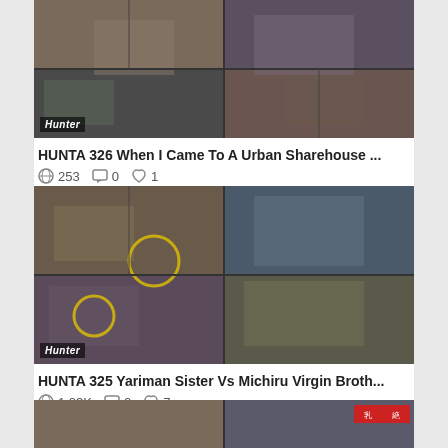[Figure (photo): Thumbnail image for HUNTA 326 video with Hunter logo watermark]
HUNTA 326 When I Came To A Urban Sharehouse ...
253 views, 0 comments, 1 like
[Figure (photo): Thumbnail image for HUNTA 325 video with Hunter logo watermark]
HUNTA 325 Yariman Sister Vs Michiru Virgin Broth...
1.03K views, 0 comments, 7 likes
[Figure (photo): Partial thumbnail image at bottom of page]